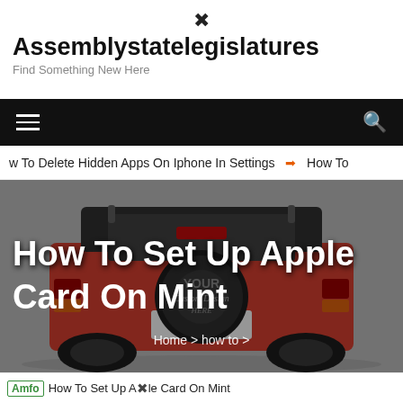Assemblystatelegislatures — Find Something New Here
[Figure (screenshot): Navigation bar with hamburger menu icon on left and search icon on right, black background]
w To Delete Hidden Apps On Iphone In Settings  ➔  How To
[Figure (photo): Rear view of a red Jeep with a spare tire cover reading 'YOUR Custom Design HERE', article title overlay: How To Set Up Apple Card On Mint]
How To Set Up Apple Card On Mint
Home > how to >
Amfo  How To Set Up Apple Card On Mint